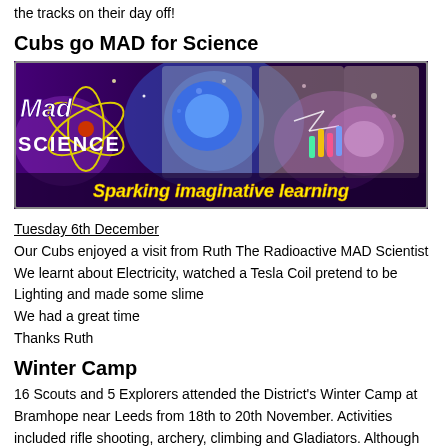Lots of thanks to the staff at Stirling for agreeing to let us take over the tracks on their day off!
Cubs go MAD for Science
[Figure (photo): Mad Science promotional banner showing children doing science experiments with the text 'Sparking imaginative learning' on a purple background with the Mad Science logo.]
Tuesday 6th December
Our Cubs enjoyed a visit from Ruth The Radioactive MAD Scientist
We learnt about Electricity, watched a Tesla Coil pretend to be Lighting and made some slime
We had a great time
Thanks Ruth
Winter Camp
16 Scouts and 5 Explorers attended the District's Winter Camp at Bramhope near Leeds from 18th to 20th November. Activities included rifle shooting, archery, climbing and Gladiators. Although the Explorers